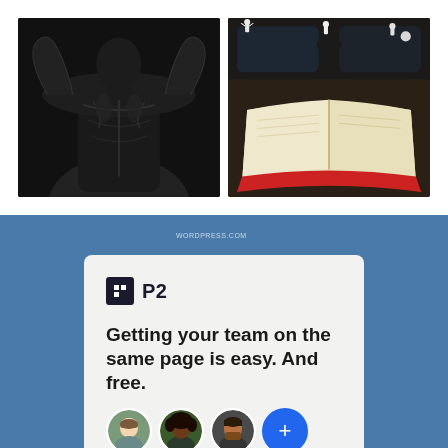[Figure (photo): Two photos side by side: left is a black-and-white photo of a muscular person flexing their back muscles; right is a color photo of miniature figurines standing on top of an open book with eyeglasses.]
[Figure (screenshot): P2 app card on blue background. Shows P2 logo (dark square icon + P2 text), headline 'Getting your team on the same page is easy. And free.' and three circular avatar photos plus a blue plus button.]
Getting your team on the same page is easy. And free.